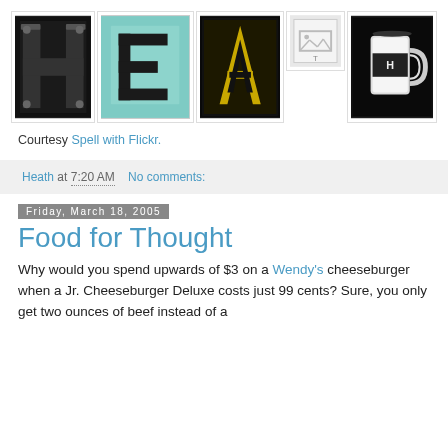[Figure (photo): Five letter photos spelling 'HEATH' using Spell with Flickr style images: H (metal letter on dark background), E (teal/aqua background), A (dark letter with gold texture), T (broken image placeholder), H (black and white photo of a mug/cup)]
Courtesy Spell with Flickr.
Heath at 7:20 AM   No comments:
Friday, March 18, 2005
Food for Thought
Why would you spend upwards of $3 on a Wendy's cheeseburger when a Jr. Cheeseburger Deluxe costs just 99 cents? Sure, you only get two ounces of beef instead of a